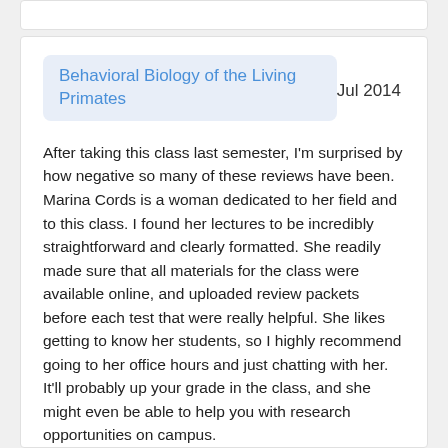Behavioral Biology of the Living Primates
Jul 2014
After taking this class last semester, I'm surprised by how negative so many of these reviews have been. Marina Cords is a woman dedicated to her field and to this class. I found her lectures to be incredibly straightforward and clearly formatted. She readily made sure that all materials for the class were available online, and uploaded review packets before each test that were really helpful. She likes getting to know her students, so I highly recommend going to her office hours and just chatting with her. It'll probably up your grade in the class, and she might even be able to help you with research opportunities on campus.